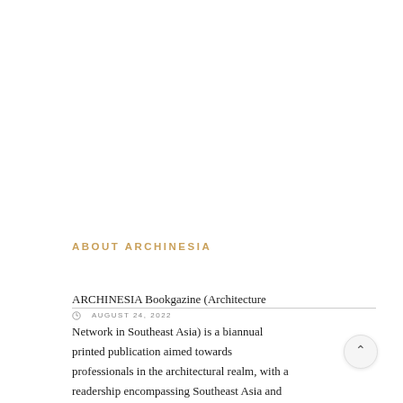ABOUT ARCHINESIA
ARCHINESIA Bookgazine (Architecture
AUGUST 24, 2022
Network in Southeast Asia) is a biannual printed publication aimed towards professionals in the architectural realm, with a readership encompassing Southeast Asia and